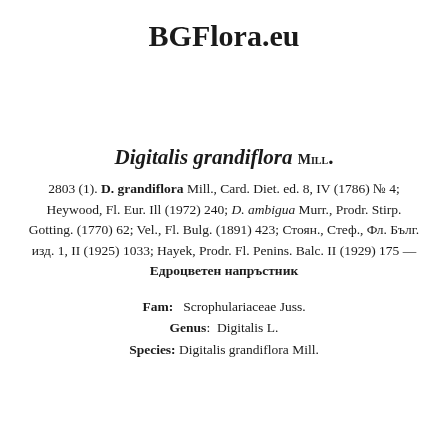BGFlora.eu
Digitalis grandiflora Mill.
2803 (1). D. grandiflora Mill., Card. Diet. ed. 8, IV (1786) № 4; Heywood, Fl. Eur. Ill (1972) 240; D. ambigua Murr., Prodr. Stirp. Gotting. (1770) 62; Vel., Fl. Bulg. (1891) 423; Стоян., Стеф., Фл. Бълг. изд. 1, II (1925) 1033; Hayek, Prodr. Fl. Penins. Balc. II (1929) 175 — Едроцветен напръстник
Fam: Scrophulariaceae Juss.
Genus: Digitalis L.
Species: Digitalis grandiflora Mill.